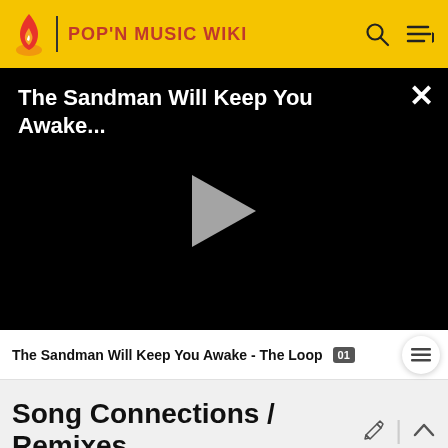POP'N MUSIC WIKI
[Figure (screenshot): Video player with black background showing title 'The Sandman Will Keep You Awake...' with a grey play button in the center and a close (X) button in the top-right corner]
The Sandman Will Keep You Awake - The Loop
Song Connections / Remixes